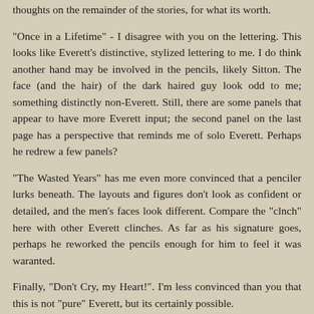thoughts on the remainder of the stories, for what its worth.
"Once in a Lifetime" - I disagree with you on the lettering. This looks like Everett's distinctive, stylized lettering to me. I do think another hand may be involved in the pencils, likely Sitton. The face (and the hair) of the dark haired guy look odd to me; something distinctly non-Everett. Still, there are some panels that appear to have more Everett input; the second panel on the last page has a perspective that reminds me of solo Everett. Perhaps he redrew a few panels?
"The Wasted Years" has me even more convinced that a penciler lurks beneath. The layouts and figures don't look as confident or detailed, and the men's faces look different. Compare the "clnch" here with other Everett clinches. As far as his signature goes, perhaps he reworked the pencils enough for him to feel it was waranted.
Finally, "Don't Cry, my Heart!". I'm less convinced than you that this is not "pure" Everett, but its certainly possible.
Wow! Pencils OR inks, Everett was a distinctive and